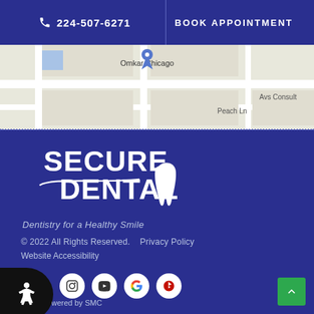224-507-6271  BOOK APPOINTMENT
[Figure (map): Google map showing location near Omkar Chicago, Avs Consult, Peach Ln]
[Figure (logo): Secure Dental logo — tooth graphic with 'Secure Dental' text]
Dentistry for a Healthy Smile
© 2022 All Rights Reserved.    Privacy Policy
Website Accessibility
Powered by SMC